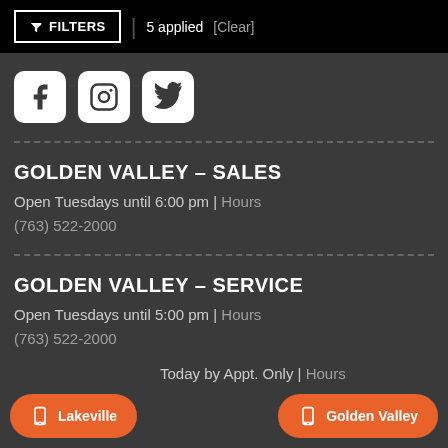FILTERS | 5 applied [Clear]
[Figure (illustration): Social media icons: Facebook, Instagram, Twitter]
GOLDEN VALLEY – SALES
Open Tuesdays until 6:00 pm | Hours
(763) 522-2000
GOLDEN VALLEY – SERVICE
Open Tuesdays until 5:00 pm | Hours
(763) 522-2000
SALES
Today by Appt. Only | Hours
Lakeville | Golden Valley